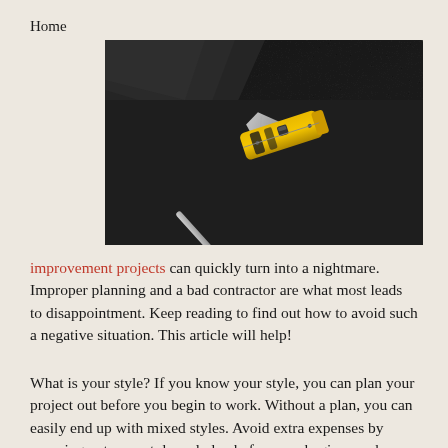Home
[Figure (photo): A yellow box cutter utility knife and a silver pen/exacto knife on a dark black foam surface with foam sheets in the background.]
improvement projects can quickly turn into a nightmare. Improper planning and a bad contractor are what most leads to disappointment. Keep reading to find out how to avoid such a negative situation. This article will help!
What is your style? If you know your style, you can plan your project out before you begin to work. Without a plan, you can easily end up with mixed styles. Avoid extra expenses by mapping out your style and plan before you begin your home